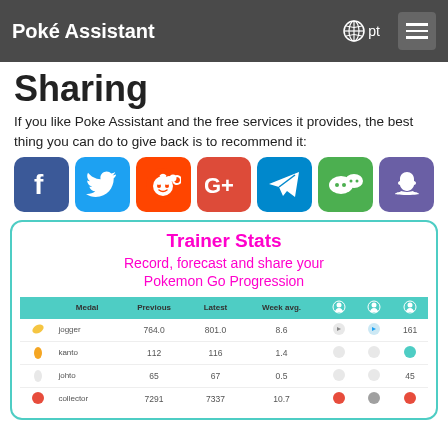Poké Assistant  pt
Sharing
If you like Poke Assistant and the free services it provides, the best thing you can do to give back is to recommend it:
[Figure (infographic): Row of 7 social media sharing icons: Facebook, Twitter, Reddit, Google+, Telegram, WeChat, Snapchat]
[Figure (infographic): Trainer Stats promotional box with teal border. Title: Trainer Stats. Subtitle: Record, forecast and share your Pokemon Go Progression. Contains a table showing Medal, Previous, Latest, Week avg. columns with rows: jogger 764.0 801.0 8.6 161; kanto 112 116 1.4; johto 65 67 0.5 45; collector 7291 7337 10.7]